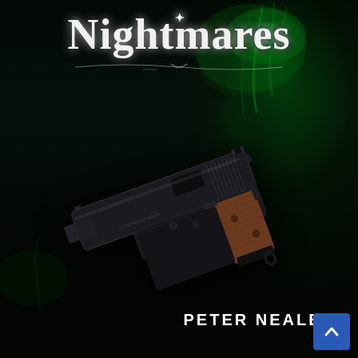[Figure (illustration): Book cover for 'Nightmares' by Peter Nealen. Dark near-black background with green smoky/wispy tendrils in upper right. Large stylized gothic/horror font title 'Nightmares' at top center in white with decorative elements. Center image shows a vintage 1911-style semi-automatic pistol with dark blued metal finish and brown wood grip panels, angled diagonally. Author name 'PETER NEALEN' in bold white caps at lower right. Blue scroll-to-top arrow button in bottom-right corner.]